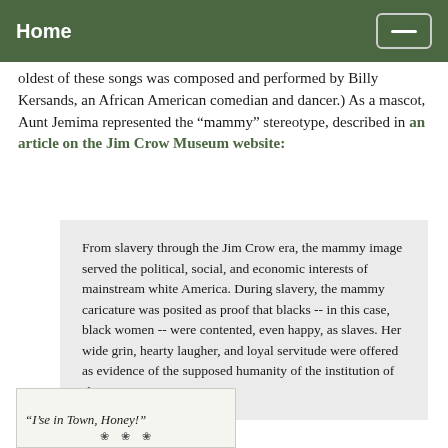Home
oldest of these songs was composed and performed by Billy Kersands, an African American comedian and dancer.) As a mascot, Aunt Jemima represented the “mammy” stereotype, described in an article on the Jim Crow Museum website:
From slavery through the Jim Crow era, the mammy image served the political, social, and economic interests of mainstream white America. During slavery, the mammy caricature was posited as proof that blacks -- in this case, black women -- were contented, even happy, as slaves. Her wide grin, hearty laugher, and loyal servitude were offered as evidence of the supposed humanity of the institution of slavery.
[Figure (illustration): Bottom portion of a historical advertisement or sheet music cover showing text '“I’se in Town, Honey!”' and a decorative illustration element below]